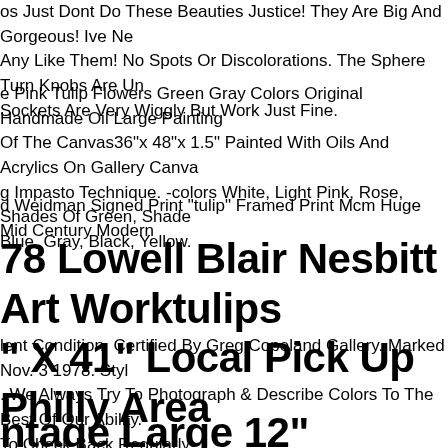os Just Dont Do These Beauties Justice! They Are Big And Gorgeous! Ive Ne Any Like Them! No Spots Or Discolorations. The Sphere Turn Knobs Are Un Sockets Are Very Wiggly But Work Just Fine.
e Pink Tulip Flowers Green Gray Colors Original Handmade Oil Large Painting Of The Canvas36"x 48"x 1.5" Painted With Oils And Acrylics On Gallery Canva g Impasto Technique. -colors White, Light Pink, Rose, Shades Of Green, Shade Blue, Gray, Black, Yellow.
d Weidman Signed Print "tulip" Framed Print Mcm Huge Mid Century Modern
78 Lowell Blair Nesbitt Art Worktulips " X 41" Local Pick Up Philly Area
lent Condition. Certified By Greg Copeland Gallery. Marked Nov. 3 1978. Styl . We Always Try To Photograph & Describe Colors To The Best Of Our Ability. To Check Back Regularly.
ntage Large 12" Rose/tulip Otagiri